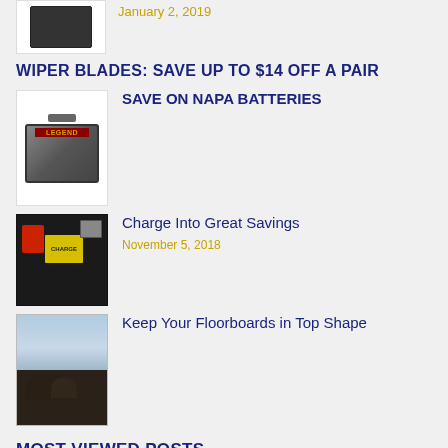[Figure (photo): Small car battery charger device image, top of page]
January 2, 2019
WIPER BLADES: SAVE UP TO $14 OFF A PAIR
[Figure (photo): NAPA Legend battery product photo]
SAVE ON NAPA BATTERIES
[Figure (photo): Car battery charger connected to battery terminals]
Charge Into Great Savings
November 5, 2018
[Figure (photo): People in vehicle looking out, floorboards scene]
Keep Your Floorboards in Top Shape
MOST VIEWED POSTS